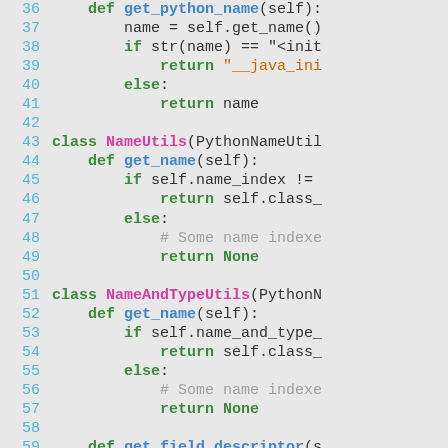[Figure (screenshot): Python source code listing, lines 36–65, showing class definitions for NameUtils and NameAndTypeUtils with methods get_name and get_field_descriptor, on a light grey background with syntax highlighting.]